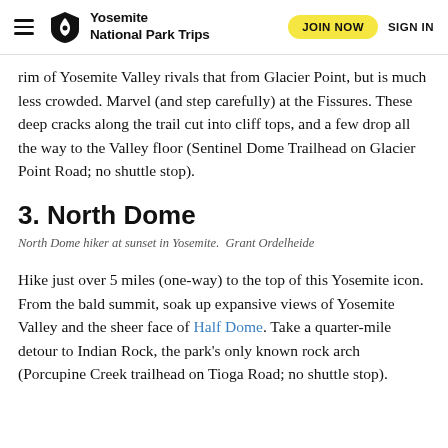Yosemite National Park Trips | JOIN NOW | SIGN IN
rim of Yosemite Valley rivals that from Glacier Point, but is much less crowded. Marvel (and step carefully) at the Fissures. These deep cracks along the trail cut into cliff tops, and a few drop all the way to the Valley floor (Sentinel Dome Trailhead on Glacier Point Road; no shuttle stop).
3. North Dome
North Dome hiker at sunset in Yosemite.  Grant Ordelheide
Hike just over 5 miles (one-way) to the top of this Yosemite icon. From the bald summit, soak up expansive views of Yosemite Valley and the sheer face of Half Dome. Take a quarter-mile detour to Indian Rock, the park’s only known rock arch (Porcupine Creek trailhead on Tioga Road; no shuttle stop).